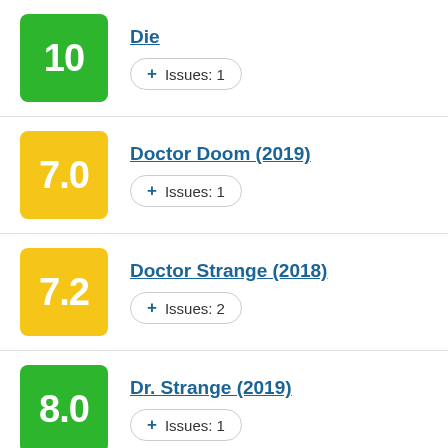Die — Score: 10, Issues: 1
Doctor Doom (2019) — Score: 7.0, Issues: 1
Doctor Strange (2018) — Score: 7.2, Issues: 2
Dr. Strange (2019) — Score: 8.0, Issues: 1